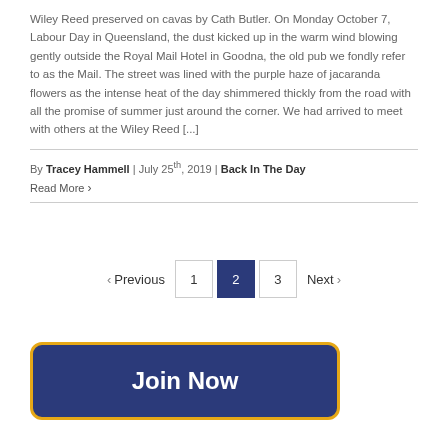Wiley Reed preserved on cavas by Cath Butler. On Monday October 7, Labour Day in Queensland, the dust kicked up in the warm wind blowing gently outside the Royal Mail Hotel in Goodna, the old pub we fondly refer to as the Mail. The street was lined with the purple haze of jacaranda flowers as the intense heat of the day shimmered thickly from the road with all the promise of summer just around the corner. We had arrived to meet with others at the Wiley Reed [...]
By Tracey Hammell | July 25th, 2019 | Back In The Day
Read More >
< Previous  1  2  3  Next >
Join Now